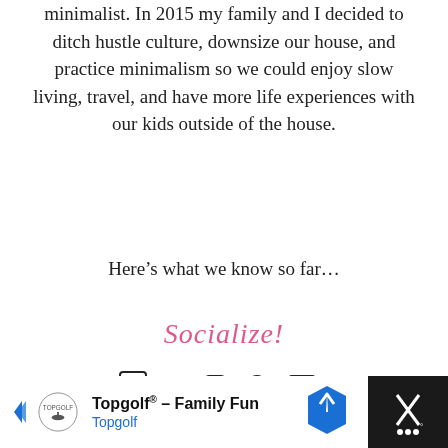minimalist. In 2015 my family and I decided to ditch hustle culture, downsize our house, and practice minimalism so we could enjoy slow living, travel, and have more life experiences with our kids outside of the house.
Here’s what we know so far…
Socialize!
[Figure (other): Social media icons: Facebook, Twitter, Instagram, Pinterest, YouTube]
[Figure (other): Advertisement banner: Topgolf® – Family Fun, Topgolf, with arrow and map direction icons]